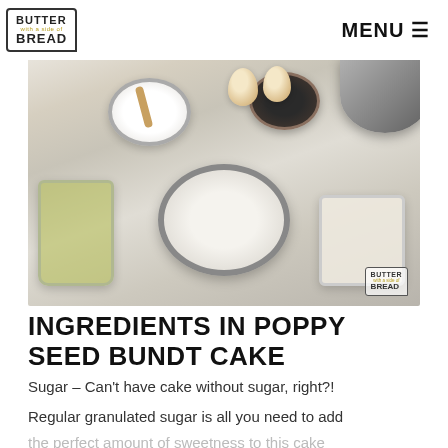BUTTER with a side of BREAD | MENU
[Figure (photo): Overhead flat-lay photo of baking ingredients on a marble surface including bowls of flour, sugar, poppy seeds, oil, milk, and eggs]
INGREDIENTS IN POPPY SEED BUNDT CAKE
Sugar – Can't have cake without sugar, right?!
Regular granulated sugar is all you need to add
the perfect amount of sweetness to this cake